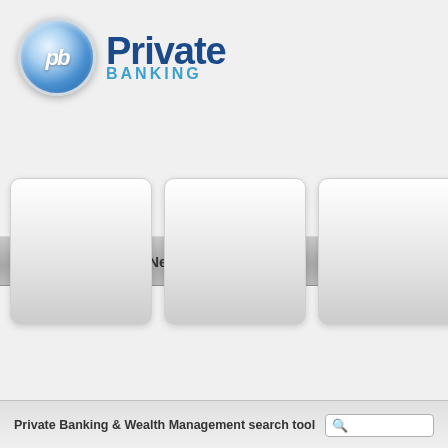[Figure (logo): Private Banking logo with pb icon in blue circle and text 'Private BANKING']
Home | News | Library | Newsletters
[Figure (screenshot): Four rounded content card panels in a row below navigation]
[Figure (infographic): Finance Lounge LOGIN HERE! button with blue background and pill shape]
Private Banking & Wealth Management search tool